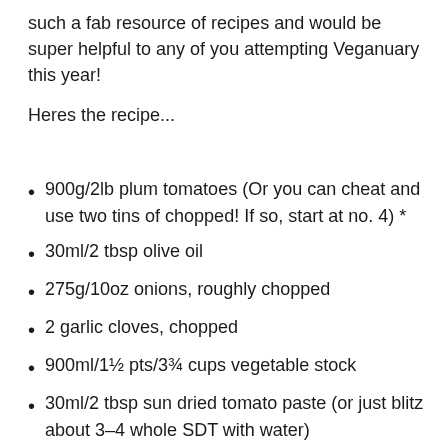such a fab resource of recipes and would be super helpful to any of you attempting Veganuary this year!
Heres the recipe...
900g/2lb plum tomatoes (Or you can cheat and use two tins of chopped! If so, start at no. 4) *
30ml/2 tbsp olive oil
275g/10oz onions, roughly chopped
2 garlic cloves, chopped
900ml/1½ pts/3¾ cups vegetable stock
30ml/2 tbsp sun dried tomato paste (or just blitz about 3-4 whole SDT with water)
10ml/2 tsp paprika